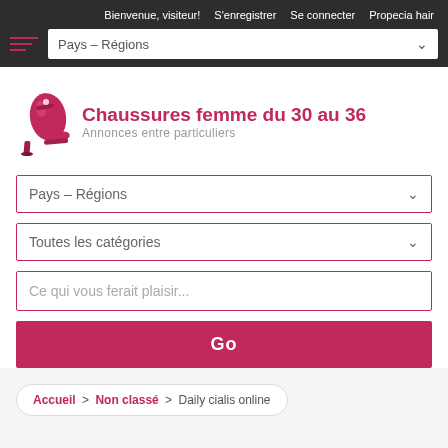Bienvenue, visiteur! S'enregistrer Se connecter Propecia hair
[Figure (screenshot): Navigation dropdown bar with hamburger menu icon and 'Pays – Régions' dropdown]
[Figure (logo): High heel shoe logo with text 'Chaussures femme du 30 au 36 - Annonces entre particuliers']
Pays – Régions
Toutes les catégories
Ce qui vous ferait plaisir...
Go
Accueil > Non classé > Daily cialis online